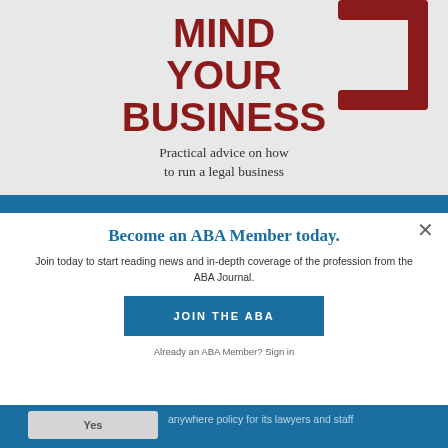[Figure (illustration): Book cover or advertisement showing 'MIND YOUR BUSINESS - Practical advice on how to run a legal business' with dark red bold title text on a light gray background, with a dark red arrow/bracket graphic in the top right corner.]
Become an ABA Member today.
Join today to start reading news and in-depth coverage of the profession from the ABA Journal.
JOIN THE ABA
Already an ABA Member? Sign in
Yes
anywhere policy for its lawyers and staff